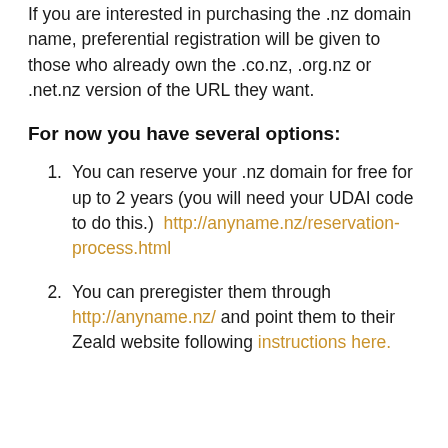If you are interested in purchasing the .nz domain name, preferential registration will be given to those who already own the .co.nz, .org.nz or .net.nz version of the URL they want.
For now you have several options:
You can reserve your .nz domain for free for up to 2 years (you will need your UDAI code to do this.)  http://anyname.nz/reservation-process.html
You can preregister them through http://anyname.nz/ and point them to their Zeald website following instructions here.